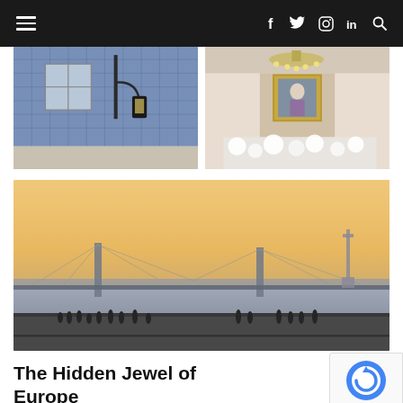Navigation bar with hamburger menu, social icons (f, twitter, instagram, linkedin) and search
[Figure (photo): Lisbon building facade with blue azulejo tiles and a hanging street lamp]
[Figure (photo): Ornate interior of a church or palace with chandelier, gold decoration and white flowers]
[Figure (photo): Lisbon waterfront at sunset showing the 25 de Abril bridge over the Tagus river and Cristo Rei statue, people on a terrace in the foreground]
The Hidden Jewel of Europe
Lisbon's irresistible charm is the first to greet you if